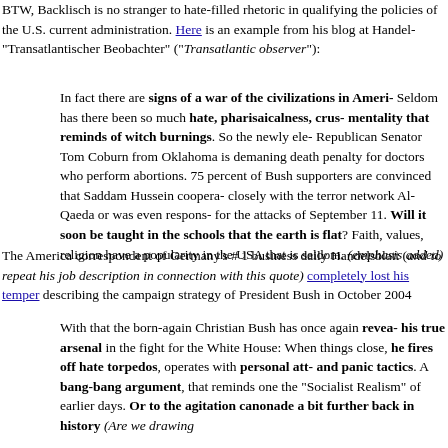BTW, Backlisch is no stranger to hate-filled rhetoric in qualifying the policies of the U.S. current administration. Here is an example from his blog at Handel- "Transatlantischer Beobachter" ("Transatlantic observer"):
In fact there are signs of a war of the civilizations in Ameri- Seldom has there been so much hate, pharisaicalness, crus- mentality that reminds of witch burnings. So the newly ele- Republican Senator Tom Coburn from Oklahoma is demaning death penalty for doctors who perform abortions. 75 percent of Bush supporters are convinced that Saddam Hussein coopera- closely with the terror network Al-Qaeda or was even respons- for the attacks of September 11. Will it soon be taught in the schools that the earth is flat? Faith, values, religion have a popularity in the USA that is seldom. (emphasis added)
The America correspondent of Germany's # 1 business daily Handelsblatt (and to repeat his job description in connection with this quote) completely lost his temper describing the campaign strategy of President Bush in October 2004
With that the born-again Christian Bush has once again revea- his true arsenal in the fight for the White House: When things close, he fires off hate torpedos, operates with personal att- and panic tactics. A bang-bang argument, that reminds one the "Socialist Realism" of earlier days. Or to the agitation canonade a bit further back in history (Are we drawing